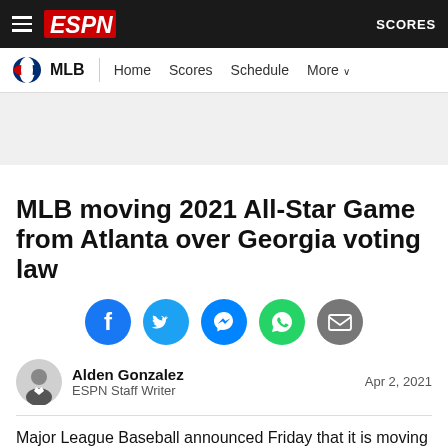ESPN — SCORES
MLB | Home  Scores  Schedule  More
[Figure (other): Advertisement banner placeholder, light gray background]
MLB moving 2021 All-Star Game from Atlanta over Georgia voting law
[Figure (infographic): Social sharing icons: Facebook (blue), Twitter (blue), Messenger (blue), WhatsApp (green), Email (gray)]
Alden Gonzalez
ESPN Staff Writer
Apr 2, 2021
Major League Baseball announced Friday that it is moving the